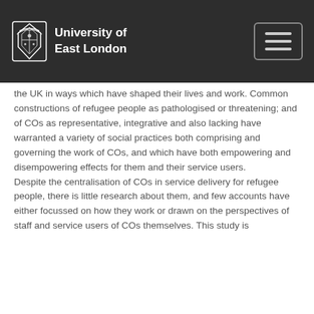University of East London
the UK in ways which have shaped their lives and work. Common constructions of refugee people as pathologised or threatening; and of COs as representative, integrative and also lacking have warranted a variety of social practices both comprising and governing the work of COs, and which have both empowering and disempowering effects for them and their service users. Despite the centralisation of COs in service delivery for refugee people, there is little research about them, and few accounts have either focussed on how they work or drawn on the perspectives of staff and service users of COs themselves. This study is